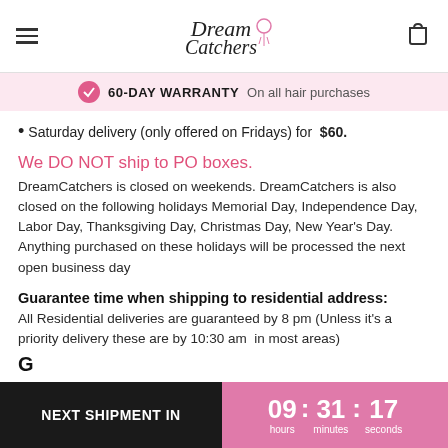DreamCatchers logo with hamburger menu and cart icon
60-DAY WARRANTY On all hair purchases
Saturday delivery (only offered on Fridays) for $60.
We DO NOT ship to PO boxes.
DreamCatchers is closed on weekends. DreamCatchers is also closed on the following holidays Memorial Day, Independence Day, Labor Day, Thanksgiving Day, Christmas Day, New Year's Day. Anything purchased on these holidays will be processed the next open business day
Guarantee time when shipping to residential address:
All Residential deliveries are guaranteed by 8 pm (Unless it's a priority delivery these are by 10:30 am  in most areas)
NEXT SHIPMENT IN  09 : 31 : 17  hours  minutes  seconds
G...